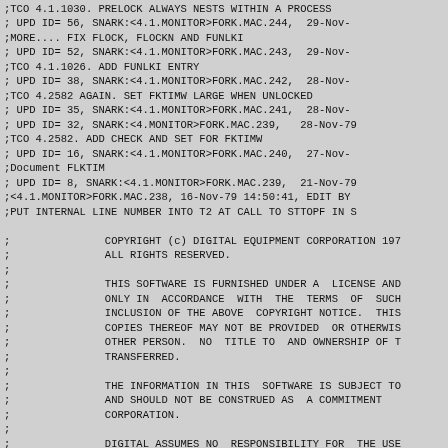;TCO 4.1.1030. PRELOCK ALWAYS NESTS WITHIN A PROCESS
; UPD ID= 56, SNARK:<4.1.MONITOR>FORK.MAC.244,  29-Nov-
;MORE.... FIX FLOCK, FLOCKN AND FUNLKI
; UPD ID= 52, SNARK:<4.1.MONITOR>FORK.MAC.243,  29-Nov-
;TCO 4.1.1026. ADD FUNLKI ENTRY
; UPD ID= 38, SNARK:<4.1.MONITOR>FORK.MAC.242,  28-Nov-
;TCO 4.2582 AGAIN. SET FKTIMW LARGE WHEN UNLOCKED
; UPD ID= 35, SNARK:<4.1.MONITOR>FORK.MAC.241,  28-Nov-
; UPD ID= 32, SNARK:<4.MONITOR>FORK.MAC.239,   28-Nov-79
;TCO 4.2582. ADD CHECK AND SET FOR FKTIMW
; UPD ID= 16, SNARK:<4.1.MONITOR>FORK.MAC.240,  27-Nov-
;Document FLKTIM
; UPD ID= 8, SNARK:<4.1.MONITOR>FORK.MAC.239,  21-Nov-79
;<4.1.MONITOR>FORK.MAC.238, 16-Nov-79 14:50:41, EDIT BY
;PUT INTERNAL LINE NUMBER INTO T2 AT CALL TO STTOPF IN S

;		COPYRIGHT (c) DIGITAL EQUIPMENT CORPORATION 197
;		ALL RIGHTS RESERVED.
;
;		THIS SOFTWARE IS FURNISHED UNDER A  LICENSE AND
;		ONLY IN  ACCORDANCE  WITH  THE  TERMS  OF  SUCH
;		INCLUSION OF THE ABOVE  COPYRIGHT NOTICE.  THIS
;		COPIES THEREOF MAY NOT BE PROVIDED  OR OTHERWIS
;		OTHER PERSON.  NO  TITLE TO  AND OWNERSHIP OF T
;		TRANSFERRED.
;
;		THE INFORMATION IN THIS  SOFTWARE IS SUBJECT TO
;		AND SHOULD NOT BE CONSTRUED AS  A COMMITMENT
;		CORPORATION.
;
;		DIGITAL ASSUMES NO  RESPONSIBILITY FOR  THE USE